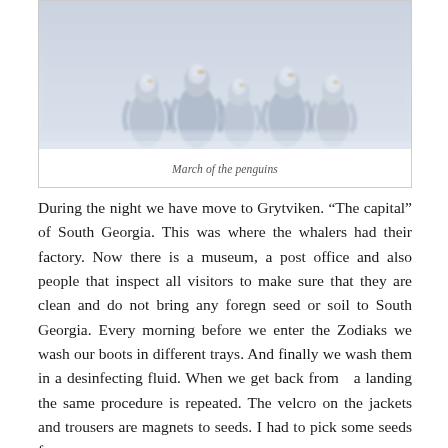[Figure (photo): Photo of penguins in a misty/snowy setting, appearing as a group huddled together in a blue-grey foggy background.]
March of the penguins
During the night we have move to Grytviken. “The capital” of South Georgia. This was where the whalers had their factory. Now there is a museum, a post office and also people that inspect all visitors to make sure that they are clean and do not bring any foregn seed or soil to South Georgia. Every morning before we enter the Zodiaks we wash our boots in different trays. And finally we wash them in a desinfecting fluid. When we get back from  a landing the same procedure is repeated. The velcro on the jackets and trousers are magnets to seeds. I had to pick some seeds from